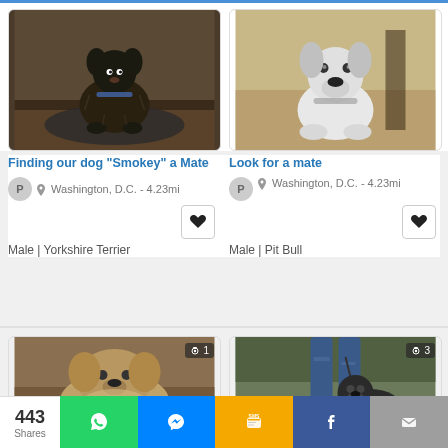[Figure (photo): Small dark Yorkshire Terrier dog sitting on a mat on a wooden floor, photo card]
[Figure (photo): White Pit Bull dog sitting indoors on a wooden floor, looking at camera]
Finding our dog “Smokey” a Mate
P  Washington, D.C. - 4.23mi
Male | Yorkshire Terrier
Look for a mate
P  Washington, D.C. - 4.23mi
Male | Pit Bull
[Figure (photo): Shih Tzu / fluffy small dog lying on a blanket, photo count badge showing 1]
[Figure (photo): Person holding leash with a dark Pit Bull dog standing, outdoors, photo count badge showing 3]
443
Shares
WhatsApp share button
Messenger share button
SMS share button
Facebook share button
Email share button